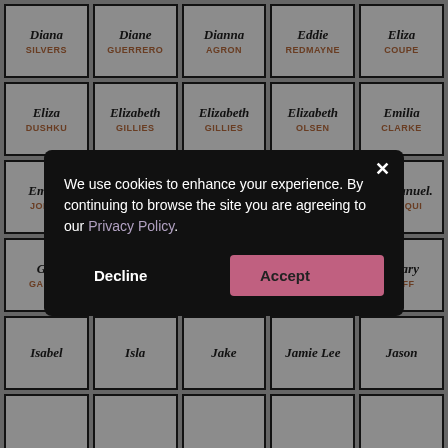[Figure (screenshot): Grid of celebrity name cards showing first name in italic and last name in orange/brown uppercase. Cards include: Diana SILVERS, Diane GUERRERO, Dianna AGRON, Eddie REDMAYNE, Eliza COUPE, Eliza DUSHKU, Elizabeth GILLIES (x2), Elizabeth OLSEN, Emilia CLARKE, Emilia JONES, Emilie DE RAVIN, Emma MACKEY, Emma ROBERTS, Emmanuel CHRIQUI, Gal GADOT, Gina RODRIGUEZ, Grey's ANATOMY, Hero FIENNES T., Hilary DUFF, Isabel, Isla, Jake, Jamie Lee, Jason. A cookie consent modal overlays the lower portion with text: 'We use cookies to enhance your experience. By continuing to browse the site you are agreeing to our Privacy Policy.' with Decline and Accept buttons.]
We use cookies to enhance your experience. By continuing to browse the site you are agreeing to our Privacy Policy.
Decline
Accept